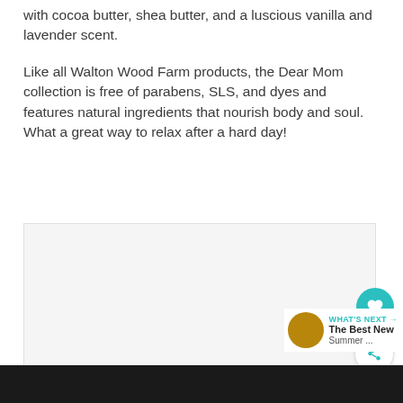with cocoa butter, shea butter, and a luscious vanilla and lavender scent.
Like all Walton Wood Farm products, the Dear Mom collection is free of parabens, SLS, and dyes and features natural ingredients that nourish body and soul. What a great way to relax after a hard day!
[Figure (photo): An image placeholder with navigation dots below]
WHAT'S NEXT → The Best New Summer ...